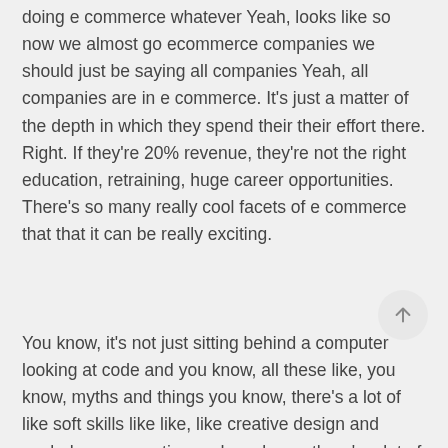doing e commerce whatever Yeah, looks like so now we almost go ecommerce companies we should just be saying all companies Yeah, all companies are in e commerce. It's just a matter of the depth in which they spend their their effort there. Right. If they're 20% revenue, they're not the right education, retraining, huge career opportunities. There's so many really cool facets of e commerce that that it can be really exciting.
You know, it's not just sitting behind a computer looking at code and you know, all these like, you know, myths and things you know, there's a lot of like soft skills like like, like creative design and yeah, human emotion and you know, there's a lot of